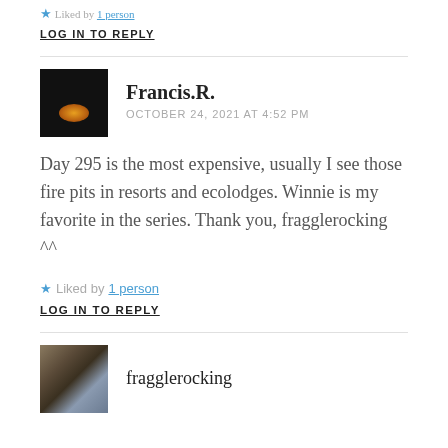Liked by 1 person
LOG IN TO REPLY
Francis.R.
OCTOBER 24, 2021 AT 4:52 PM
Day 295 is the most expensive, usually I see those fire pits in resorts and ecolodges. Winnie is my favorite in the series. Thank you, fragglerocking ^^
Liked by 1 person
LOG IN TO REPLY
fragglerocking